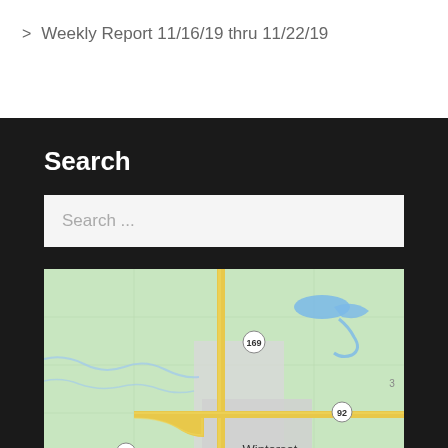Weekly Report 11/16/19 thru 11/22/19
Search
Search ...
[Figure (map): Map showing the Winterset, Iowa area with US Route 169 and Route 92 visible, featuring roads, green land areas, a blue water body, and the town of Winterset labeled at the bottom.]